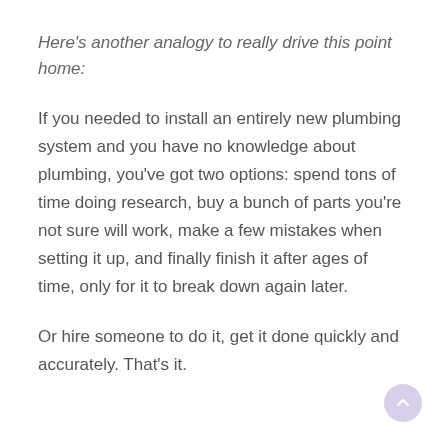Here's another analogy to really drive this point home:
If you needed to install an entirely new plumbing system and you have no knowledge about plumbing, you've got two options: spend tons of time doing research, buy a bunch of parts you're not sure will work, make a few mistakes when setting it up, and finally finish it after ages of time, only for it to break down again later.
Or hire someone to do it, get it done quickly and accurately. That's it.